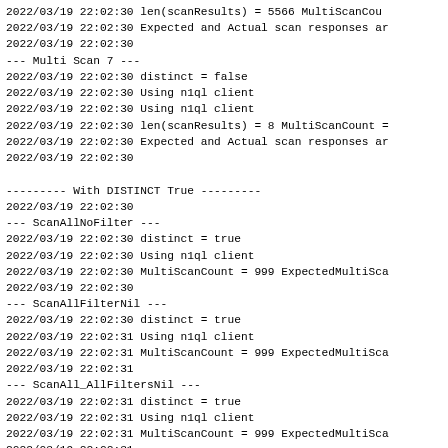2022/03/19 22:02:30 len(scanResults) = 5566 MultiScanCou
2022/03/19 22:02:30 Expected and Actual scan responses ar
2022/03/19 22:02:30
--- Multi Scan 7 ---
2022/03/19 22:02:30 distinct = false
2022/03/19 22:02:30 Using n1ql client
2022/03/19 22:02:30 Using n1ql client
2022/03/19 22:02:30 len(scanResults) = 8 MultiScanCount =
2022/03/19 22:02:30 Expected and Actual scan responses ar
2022/03/19 22:02:30

--------- With DISTINCT True ---------
2022/03/19 22:02:30
--- ScanAllNoFilter ---
2022/03/19 22:02:30 distinct = true
2022/03/19 22:02:30 Using n1ql client
2022/03/19 22:02:30 MultiScanCount = 999 ExpectedMultiSca
2022/03/19 22:02:30
--- ScanAllFilterNil ---
2022/03/19 22:02:30 distinct = true
2022/03/19 22:02:31 Using n1ql client
2022/03/19 22:02:31 MultiScanCount = 999 ExpectedMultiSca
2022/03/19 22:02:31
--- ScanAll_AllFiltersNil ---
2022/03/19 22:02:31 distinct = true
2022/03/19 22:02:31 Using n1ql client
2022/03/19 22:02:31 MultiScanCount = 999 ExpectedMultiSca
2022/03/19 22:02:31
--- SingleSeek ---
2022/03/19 22:02:31 distinct = true
2022/03/19 22:02:31 Using n1ql client